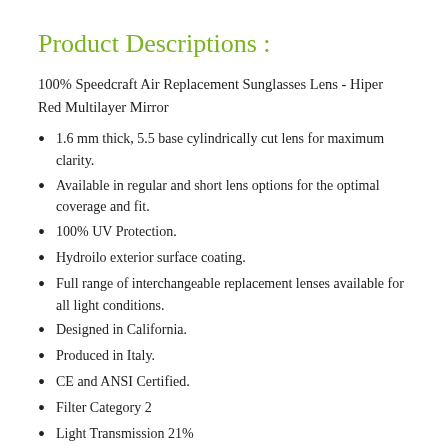Product Descriptions :
100% Speedcraft Air Replacement Sunglasses Lens - Hiper Red Multilayer Mirror
1.6 mm thick, 5.5 base cylindrically cut lens for maximum clarity.
Available in regular and short lens options for the optimal coverage and fit.
100% UV Protection.
Hydroilo exterior surface coating.
Full range of interchangeable replacement lenses available for all light conditions.
Designed in California.
Produced in Italy.
CE and ANSI Certified.
Filter Category 2
Light Transmission 21%
Please read this note before purchasing from us. We strive to provide quality items at highly competitive prices. All stock sold